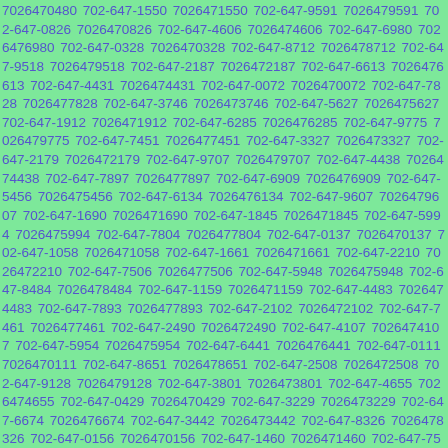7026470480 702-647-1550 7026471550 702-647-9591 7026479591 702-647-0826 7026470826 702-647-4606 7026474606 702-647-6980 7026476980 702-647-0328 7026470328 702-647-8712 7026478712 702-647-9518 7026479518 702-647-2187 7026472187 702-647-6613 7026476613 702-647-4431 7026474431 702-647-0072 7026470072 702-647-7828 7026477828 702-647-3746 7026473746 702-647-5627 7026475627 702-647-1912 7026471912 702-647-6285 7026476285 702-647-9775 7026479775 702-647-7451 7026477451 702-647-3327 7026473327 702-647-2179 7026472179 702-647-9707 7026479707 702-647-4438 7026474438 702-647-7897 7026477897 702-647-6909 7026476909 702-647-5456 7026475456 702-647-6134 7026476134 702-647-9607 7026479607 702-647-1690 7026471690 702-647-1845 7026471845 702-647-5994 7026475994 702-647-7804 7026477804 702-647-0137 7026470137 702-647-1058 7026471058 702-647-1661 7026471661 702-647-2210 7026472210 702-647-7506 7026477506 702-647-5948 7026475948 702-647-8484 7026478484 702-647-1159 7026471159 702-647-4483 7026474483 702-647-7893 7026477893 702-647-2102 7026472102 702-647-7461 7026477461 702-647-2490 7026472490 702-647-4107 7026474107 702-647-5954 7026475954 702-647-6441 7026476441 702-647-0111 7026470111 702-647-8651 7026478651 702-647-2508 7026472508 702-647-9128 7026479128 702-647-3801 7026473801 702-647-4655 7026474655 702-647-0429 7026470429 702-647-3229 7026473229 702-647-6674 7026476674 702-647-3442 7026473442 702-647-8326 7026478326 702-647-0156 7026470156 702-647-1460 7026471460 702-647-7546 7026477546 702-647-5100 7026475100 702-647-8211 7026478211 702-647-6...